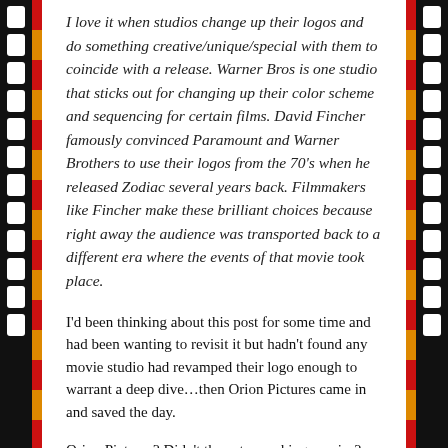I love it when studios change up their logos and do something creative/unique/special with them to coincide with a release.  Warner Bros is one studio that sticks out for changing up their color scheme and sequencing for certain films.  David Fincher famously convinced Paramount and Warner Brothers to use their logos from the 70's when he released Zodiac several years back.  Filmmakers like Fincher make these brilliant choices because right away the audience was transported back to a different era where the events of that movie took place.
I'd been thinking about this post for some time and had been wanting to revisit it but hadn't found any movie studio had revamped their logo enough to warrant a deep dive…then Orion Pictures came in and saved the day.
Orion Pictures? Didn't they stop making movies? Well, sorta but it's more like their parent company MGM just put them